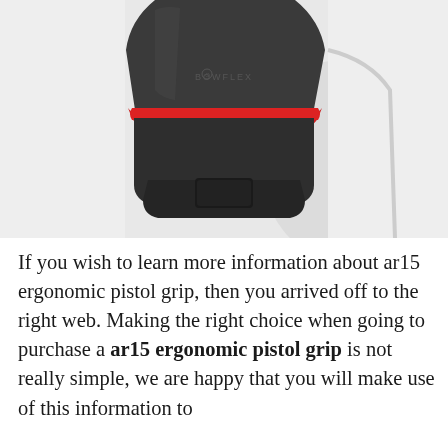[Figure (photo): Close-up photo of a dark grey AR15 ergonomic pistol grip with a red accent ring near the top and a storage compartment at the base, photographed on a light grey background.]
If you wish to learn more information about ar15 ergonomic pistol grip, then you arrived off to the right web. Making the right choice when going to purchase a ar15 ergonomic pistol grip is not really simple, we are happy that you will make use of this information to